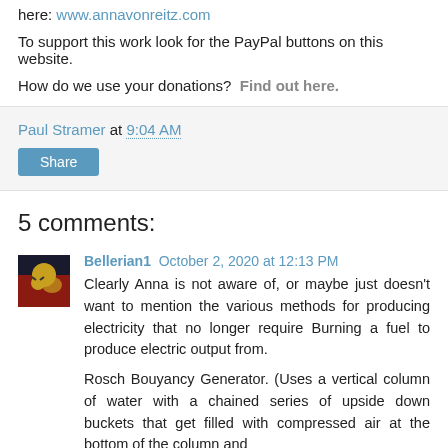here: www.annavonreitz.com
To support this work look for the PayPal buttons on this website.
How do we use your donations?  Find out here.
Paul Stramer at 9:04 AM
Share
5 comments:
Bellerian1  October 2, 2020 at 12:13 PM
Clearly Anna is not aware of, or maybe just doesn't want to mention the various methods for producing electricity that no longer require Burning a fuel to produce electric output from.
Rosch Bouyancy Generator. (Uses a vertical column of water with a chained series of upside down buckets that get filled with compressed air at the bottom of the column and